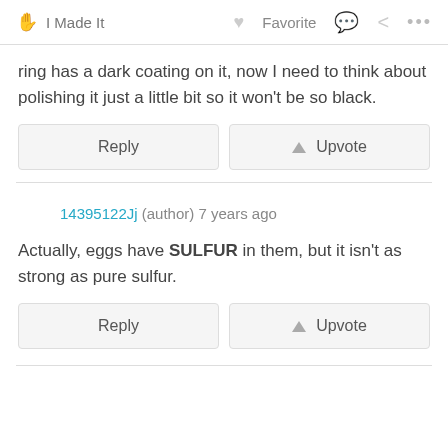🖐 I Made It   ♥ Favorite   💬   ⋮
ring has a dark coating on it, now I need to think about polishing it just a little bit so it won't be so black.
Reply  ▲  Upvote
14395122Jj (author) 7 years ago
Actually, eggs have SULFUR in them, but it isn't as strong as pure sulfur.
Reply  ▲  Upvote